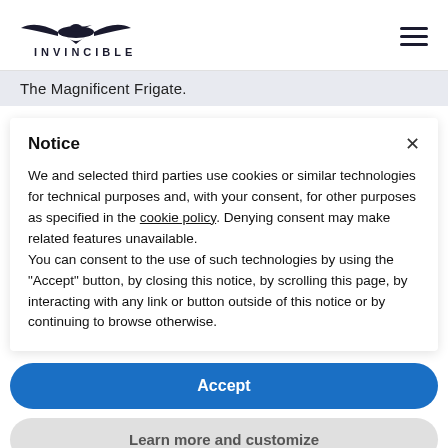[Figure (logo): Invincible brand logo with a bird/frigate silhouette above the text INVINCIBLE in uppercase spaced letters]
The Magnificent Frigate.
Notice
We and selected third parties use cookies or similar technologies for technical purposes and, with your consent, for other purposes as specified in the cookie policy. Denying consent may make related features unavailable.
You can consent to the use of such technologies by using the "Accept" button, by closing this notice, by scrolling this page, by interacting with any link or button outside of this notice or by continuing to browse otherwise.
Accept
Learn more and customize